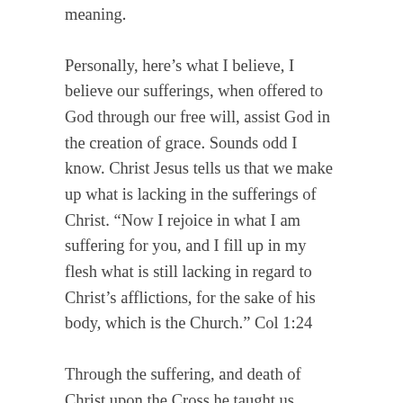meaning.
Personally, here’s what I believe, I believe our sufferings, when offered to God through our free will, assist God in the creation of grace. Sounds odd I know. Christ Jesus tells us that we make up what is lacking in the sufferings of Christ. “Now I rejoice in what I am suffering for you, and I fill up in my flesh what is still lacking in regard to Christ’s afflictions, for the sake of his body, which is the Church.” Col 1:24
Through the suffering, and death of Christ upon the Cross he taught us suffering has purpose. God does not waste it, but uses it. Think of grace as spiritual fuel for our daily lives. Plants and trees need rain, our bodies need food, cars need gasoline, many products need electricity. Our spirit too, needs grace to grow closer to